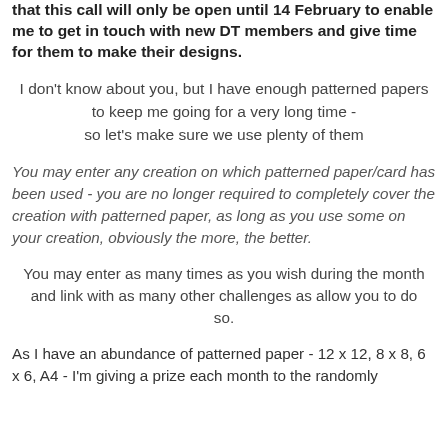that this call will only be open until 14 February to enable me to get in touch with new DT members and give time for them to make their designs.
I don't know about you, but I have enough patterned papers to keep me going for a very long time - so let's make sure we use plenty of them
You may enter any creation on which patterned paper/card has been used - you are no longer required to completely cover the creation with patterned paper, as long as you use some on your creation, obviously the more, the better.
You may enter as many times as you wish during the month and link with as many other challenges as allow you to do so.
As I have an abundance of patterned paper - 12 x 12, 8 x 8, 6 x 6, A4 - I'm giving a prize each month to the randomly